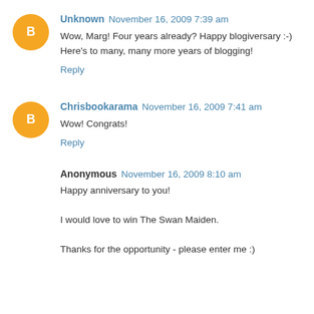Unknown November 16, 2009 7:39 am
Wow, Marg! Four years already? Happy blogiversary :-) Here's to many, many more years of blogging!
Reply
Chrisbookarama November 16, 2009 7:41 am
Wow! Congrats!
Reply
Anonymous November 16, 2009 8:10 am
Happy anniversary to you!

I would love to win The Swan Maiden.

Thanks for the opportunity - please enter me :)